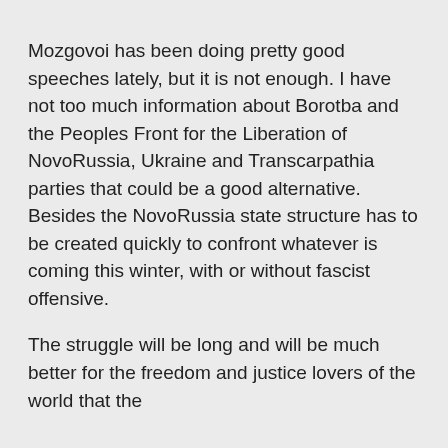Mozgovoi has been doing pretty good speeches lately, but it is not enough. I have not too much information about Borotba and the Peoples Front for the Liberation of NovoRussia, Ukraine and Transcarpathia parties that could be a good alternative. Besides the NovoRussia state structure has to be created quickly to confront whatever is coming this winter, with or without fascist offensive.
The struggle will be long and will be much better for the freedom and justice lovers of the world that the